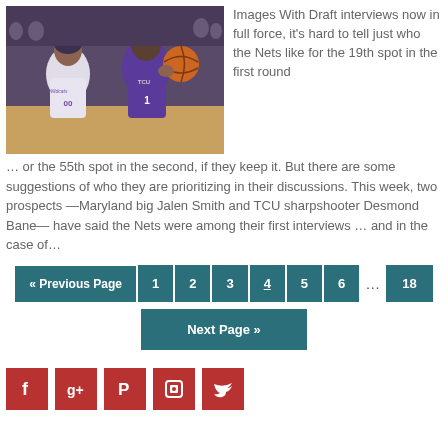[Figure (photo): Two basketball players competing for the ball — one in a white Kansas State Wildcats jersey (#00) and one in a purple TCU jersey (#1) — during a game.]
Images With Draft interviews now in full force, it's hard to tell just who the Nets like for the 19th spot in the first round … or the 55th spot in the second, if they keep it. But there are some suggestions of who they are prioritizing in their discussions. This week, two prospects —Maryland big Jalen Smith and TCU sharpshooter Desmond Bane— have said the Nets were among their first interviews … and in the case of…
« Previous Page
1
2
3
4
5
6
…
18
Next Page »
[Figure (infographic): Row of five social media icon buttons (Facebook, Google+, Pinterest, RSS, Twitter) in dark red/crimson squares.]